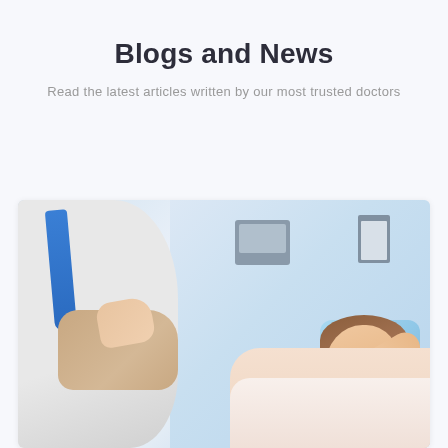Blogs and News
Read the latest articles written by our most trusted doctors
[Figure (photo): A doctor examining a young girl lying on a medical bed with a blue pillow. The doctor's hands are holding the child's hand/wrist. Medical equipment visible in the background.]